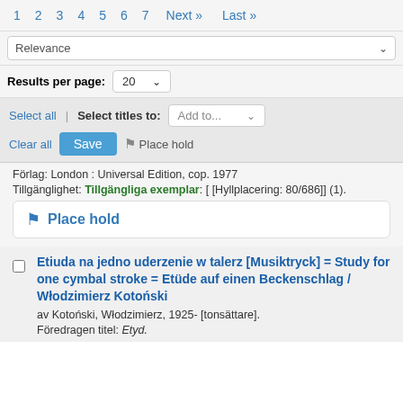1 2 3 4 5 6 7 Next » Last »
Relevance
Results per page: 20
Select all | Select titles to: Add to...  Save  Place hold
Förlag: London : Universal Edition, cop. 1977
Tillgänglighet: Tillgängliga exemplar: [ [Hyllplacering: 80/686]] (1).
Place hold
Etiuda na jedno uderzenie w talerz [Musiktryck] = Study for one cymbal stroke = Etüde auf einen Beckenschlag / Włodzimierz Kotoński
av Kotoński, Włodzimierz, 1925- [tonsättare].
Föredragen titel: Etyd.